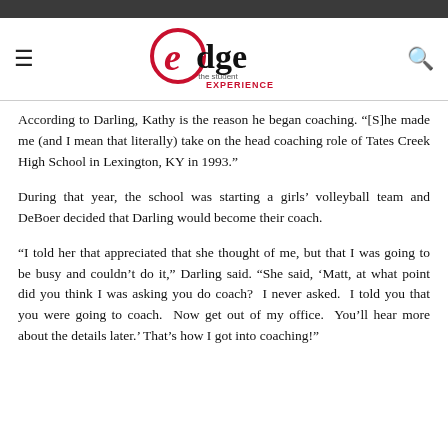edge the student EXPERIENCE
According to Darling, Kathy is the reason he began coaching. “[S]he made me (and I mean that literally) take on the head coaching role of Tates Creek High School in Lexington, KY in 1993.”
During that year, the school was starting a girls’ volleyball team and DeBoer decided that Darling would become their coach.
“I told her that appreciated that she thought of me, but that I was going to be busy and couldn’t do it,” Darling said. “She said, ‘Matt, at what point did you think I was asking you do coach? I never asked. I told you that you were going to coach. Now get out of my office. You’ll hear more about the details later.’ That’s how I got into coaching!”